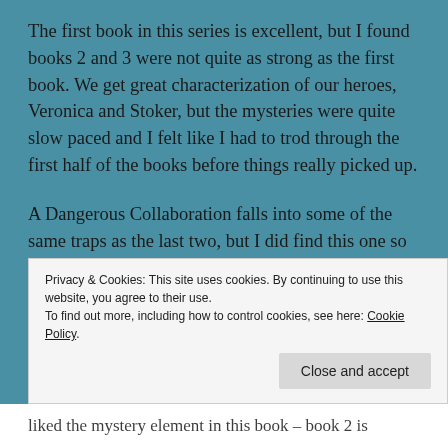The first book in this series is excellent, but I found books 2 and 3 were not quite as strong as the first book. We get great characterization of our heroes, Veronica and Stoker, but the mysteries were quite slow paced and I felt like I had to trod through the first half of the books before things really picked up.
A Dangerous Collaboration falls into some of the same traps as the last two, but I did find this one so much more compelling! I think it was a really good call to get the characters out of London for a change. Veronica and Stoker are meant to roam and I was getting as frustrated as they were by being London-bound for so long. I loved the
Privacy & Cookies: This site uses cookies. By continuing to use this website, you agree to their use.
To find out more, including how to control cookies, see here: Cookie Policy
liked the mystery element in this book – book 2 is